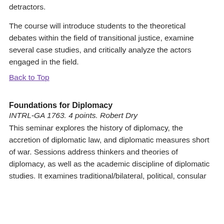detractors.
The course will introduce students to the theoretical debates within the field of transitional justice, examine several case studies, and critically analyze the actors engaged in the field.
Back to Top
Foundations for Diplomacy
INTRL-GA 1763. 4 points. Robert Dry
This seminar explores the history of diplomacy, the accretion of diplomatic law, and diplomatic measures short of war. Sessions address thinkers and theories of diplomacy, as well as the academic discipline of diplomatic studies. It examines traditional/bilateral, political, consular